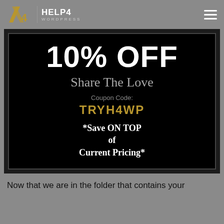HELP4 WORDPRESS
[Figure (infographic): Promotional coupon box on black background: 10% OFF, Share The Love, Coupon Code: TRYH4WP, *Save ON TOP of Current Pricing*]
Now that we are in the folder that contains your